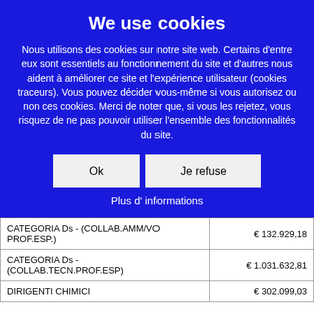We use cookies
Nous utilisons des cookies sur notre site web. Certains d'entre eux sont essentiels au fonctionnement du site et d'autres nous aident à améliorer ce site et l'expérience utilisateur (cookies traceurs). Vous pouvez décider vous-même si vous autorisez ou non ces cookies. Merci de noter que, si vous les rejetez, vous risquez de ne pas pouvoir utiliser l'ensemble des fonctionnalités du site.
Ok
Je refuse
Plus d' informations
|  |  |
| --- | --- |
| CATEGORIA Ds - (COLLAB.AMM/VO PROF.ESP.) | € 132.929,18 |
| CATEGORIA Ds - (COLLAB.TECN.PROF.ESP) | € 1.031.632,81 |
| DIRIGENTI CHIMICI | € 302.099,03 |